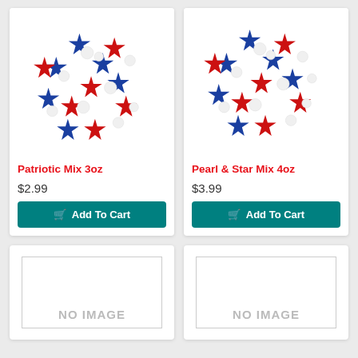[Figure (photo): Patriotic Mix 3oz product photo: red, white, and blue star-shaped and round sprinkles clustered together]
Patriotic Mix 3oz
$2.99
Add To Cart
[Figure (photo): Pearl & Star Mix 4oz product photo: red, white, and blue star-shaped and round pearl sprinkles clustered together]
Pearl & Star Mix 4oz
$3.99
Add To Cart
[Figure (other): No image placeholder for a product]
[Figure (other): No image placeholder for a product]